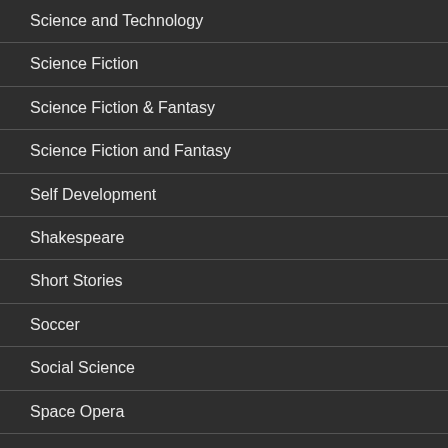Science and Technology
Science Fiction
Science Fiction & Fantasy
Science Fiction and Fantasy
Self Development
Shakespeare
Short Stories
Soccer
Social Science
Space Opera
Spanish